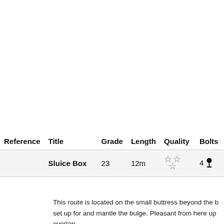| Reference | Title | Grade | Length | Quality | Bolts | Go |
| --- | --- | --- | --- | --- | --- | --- |
|  | Sluice Box | 23 | 12m | ☆☆☆ | 4🔩 |  |
This route is located on the small buttress beyond the b... set up for and mantle the bulge. Pleasant from here up... overlap.
Kieran Parsons 2019